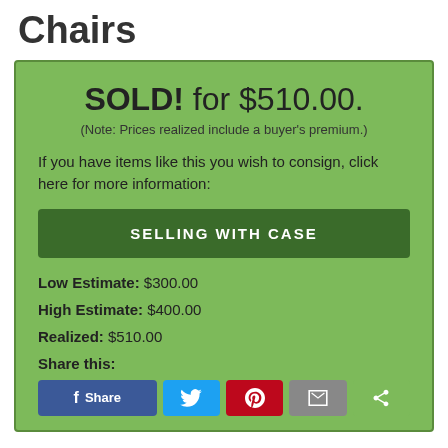Chairs
SOLD! for $510.00.
(Note: Prices realized include a buyer's premium.)
If you have items like this you wish to consign, click here for more information:
SELLING WITH CASE
Low Estimate: $300.00
High Estimate: $400.00
Realized: $510.00
Share this: